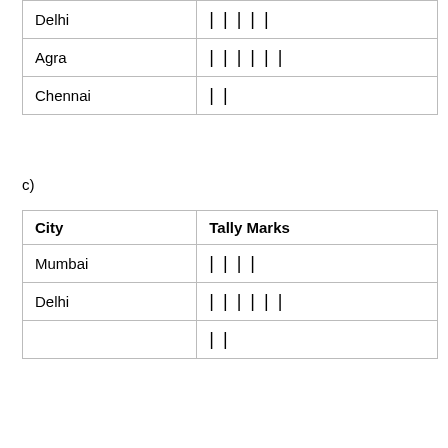| Delhi | | | | | | |
| Agra | | | | | | | |
| Chennai | | | |
c)
| City | Tally Marks |
| --- | --- |
| Mumbai | | | | | |
| Delhi | | | | | | | |
| (Chennai) | | | |